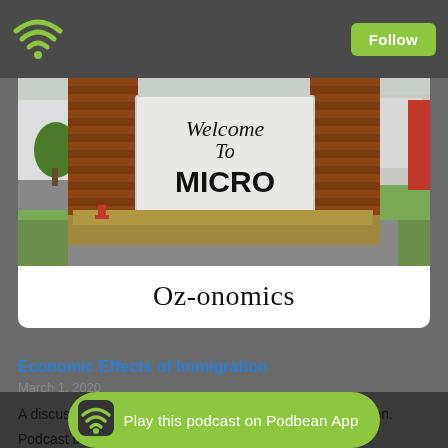Podbean app header with wifi/podcast icon and Follow button
[Figure (photo): Photo of a brick welcome sign reading 'Welcome To MICRO' surrounded by dry grass and lawn area, with industrial buildings in background. Below the photo is the podcast name 'Oz-onomics' in large serif font on a white card.]
Oz-onomics
Economic Effects of Immigration
March 1, 2020
A discussion of some of the economic effects of immigration.
Podcast b
Play this podcast on Podbean App